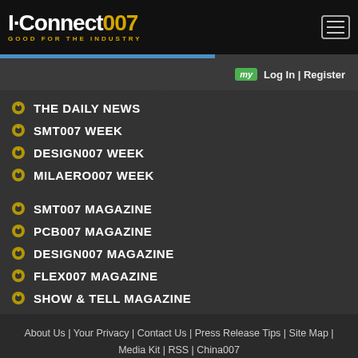[Figure (logo): I-Connect007 logo with tagline GOOD FOR THE INDUSTRY]
THE DAILY NEWS
SMT007 WEEK
DESIGN007 WEEK
MILAERO007 WEEK
SMT007 MAGAZINE
PCB007 MAGAZINE
DESIGN007 MAGAZINE
FLEX007 MAGAZINE
SHOW & TELL MAGAZINE
About Us | Your Privacy | Contact Us | Press Release Tips | Site Map | Media Kit | RSS | China007